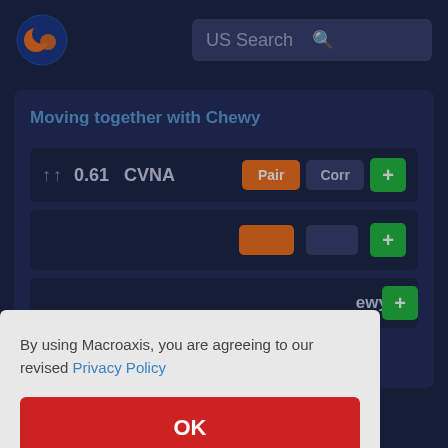[Figure (screenshot): Macroaxis website header with logo and US Search bar]
Moving together with Chewy
|  | Corr | Ticker | Pair | Corr | + |
| --- | --- | --- | --- | --- | --- |
| ↑↑ | 0.61 | CVNA | Pair | Corr | + |
By using Macroaxis, you are agreeing to our revised Privacy Policy
OK
similar enough asset to replace Chewy when you sell it.